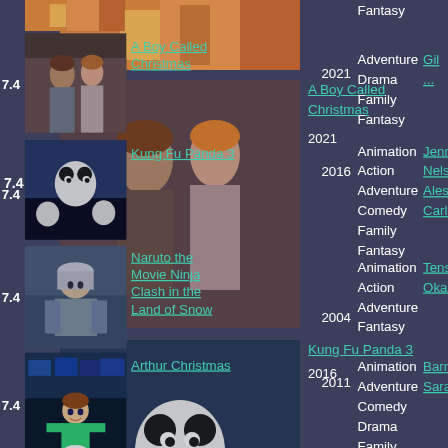[Figure (photo): Partial movie poster at top, colorful circus-like scene]
Fantasy
[Figure (photo): A Boy Called Christmas movie still - two children facing each other]
7.4
A Boy Called Christmas
2021
Adventure
Drama
Family
Fantasy
Gil...
[Figure (photo): Kung Fu Panda 3 animated movie poster]
7.4
Kung Fu Panda 3
2016
Animation
Action
Adventure
Comedy
Family
Fantasy
Jenn...
Nels...
Ales...
Carl...
[Figure (photo): Naruto the Movie Ninja Clash in the Land of Snow animated scene]
7.4
Naruto the Movie Ninja Clash in the Land of Snow
2004
Animation
Action
Adventure
Fantasy
Tens...
Oka...
[Figure (photo): Arthur Christmas animated movie still]
7.4
Arthur Christmas
2011
Animation
Adventure
Comedy
Drama
Family
Fantasy
Barn...
Sara...